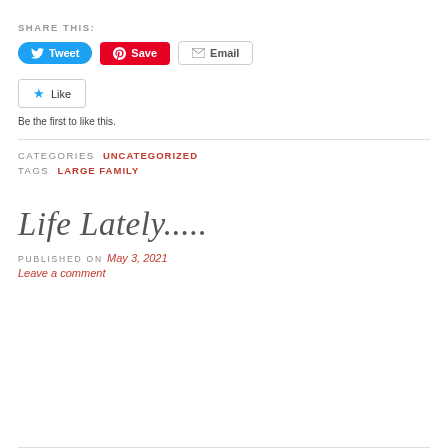SHARE THIS:
[Figure (other): Social sharing buttons: Tweet (blue), Save (red Pinterest), Email (white with border)]
[Figure (other): Like button with star icon and text 'Be the first to like this.']
CATEGORIES  UNCATEGORIZED
TAGS  LARGE FAMILY
Life Lately.....
PUBLISHED ON May 3, 2021
Leave a comment